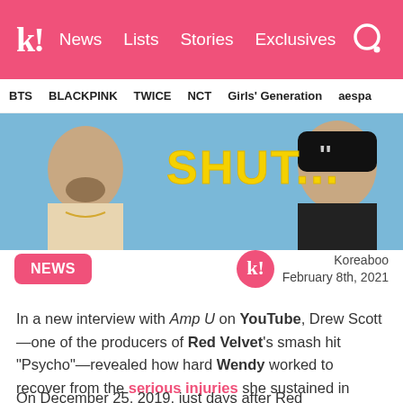k! News Lists Stories Exclusives
BTS BLACKPINK TWICE NCT Girls' Generation aespa
[Figure (photo): Hero image showing two people with bold yellow text reading SHUT... and quotation marks, against a blue sky background]
NEWS
Koreaboo
February 8th, 2021
In a new interview with Amp U on YouTube, Drew Scott—one of the producers of Red Velvet's smash hit “Psycho”—revealed how hard Wendy worked to recover from the serious injuries she sustained in 2019.
On December 25, 2019, just days after Red